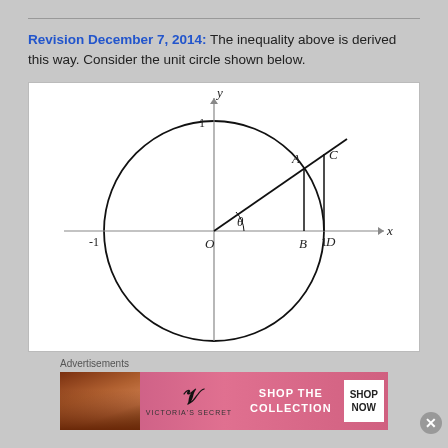Revision December 7, 2014: The inequality above is derived this way. Consider the unit circle shown below.
[Figure (engineering-diagram): Unit circle diagram with x and y axes. A circle of radius 1 centered at origin O. Points labeled: A (on circle, first quadrant), B (foot of perpendicular from A to x-axis), C (on tangent line at x=1, same height as extended line OA), D (on x-axis at x=1). Labels -1 on x-axis left, 1 on x-axis right, 1 on y-axis. Angle theta shown at origin. Lines: OA extended to C, AB vertical, CD vertical (tangent segment).]
Advertisements